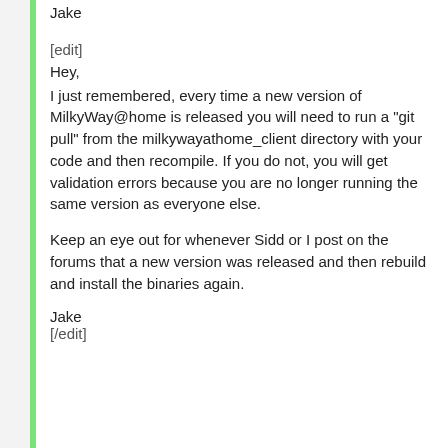Jake
[edit]
Hey,
I just remembered, every time a new version of MilkyWay@home is released you will need to run a "git pull" from the milkywayathome_client directory with your code and then recompile. If you do not, you will get validation errors because you are no longer running the same version as everyone else.
Keep an eye out for whenever Sidd or I post on the forums that a new version was released and then rebuild and install the binaries again.
Jake
[/edit]